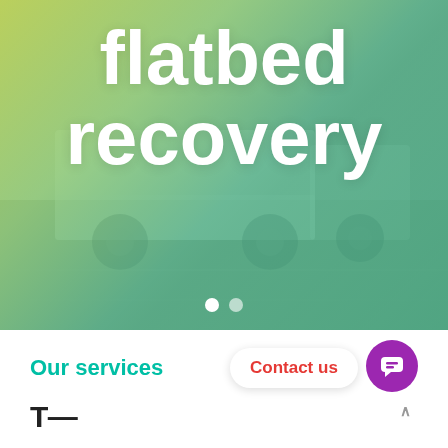[Figure (photo): Hero banner image of a flatbed recovery truck in a parking area, overlaid with a yellow-green to teal gradient. Large white bold text reads 'flatbed recovery'. Carousel indicator dots (one white/active, one semi-transparent) appear at the bottom of the image.]
flatbed recovery
Our services
Contact us
T...